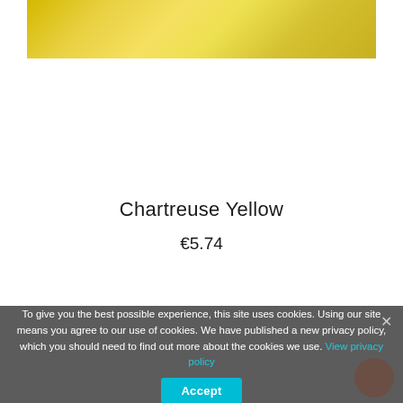[Figure (photo): Chartreuse yellow watercolor paint swatch — a golden-yellow textured band across the top of the product card]
Chartreuse Yellow
€5.74
To give you the best possible experience, this site uses cookies. Using our site means you agree to our use of cookies. We have published a new privacy policy, which you should need to find out more about the cookies we use. View privacy policy   Accept